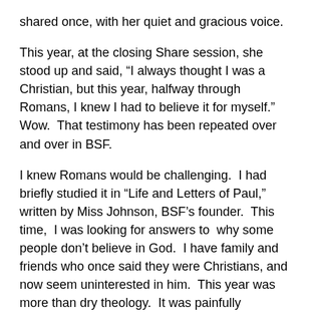shared once, with her quiet and gracious voice.
This year, at the closing Share session, she stood up and said, “I always thought I was a Christian, but this year, halfway through Romans, I knew I had to believe it for myself.”  Wow.  That testimony has been repeated over and over in BSF.
I knew Romans would be challenging.  I had briefly studied it in “Life and Letters of Paul,” written by Miss Johnson, BSF’s founder.  This time,  I was looking for answers to  why some people don’t believe in God.  I have family and friends who once said they were Christians, and now seem uninterested in him.  This year was more than dry theology.  It was painfully personal.
I began Romans as the leader of a group of 15 ladies, in